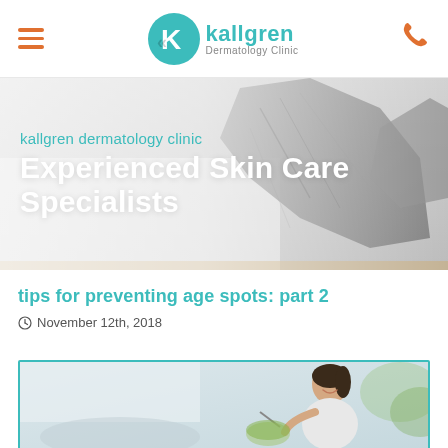[Figure (logo): Kallgren Dermatology Clinic logo with teal K lettermark and wordmark, hamburger menu icon in orange, phone icon in orange]
[Figure (photo): Hero banner with rocky cliff background in grayscale, white/light gradient overlay on left side]
kallgren dermatology clinic
Experienced Skin Care Specialists
tips for preventing age spots: part 2
November 12th, 2018
[Figure (photo): Woman smiling and eating a salad, light background, framed with teal border]